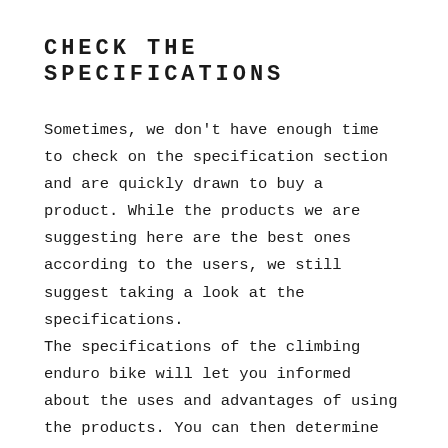CHECK THE SPECIFICATIONS
Sometimes, we don't have enough time to check on the specification section and are quickly drawn to buy a product. While the products we are suggesting here are the best ones according to the users, we still suggest taking a look at the specifications.
The specifications of the climbing enduro bike will let you informed about the uses and advantages of using the products. You can then determine if that can fulfill the purpose of your needs.
Yes, there can be a few problems understanding the whole specification section if it is too long. What we